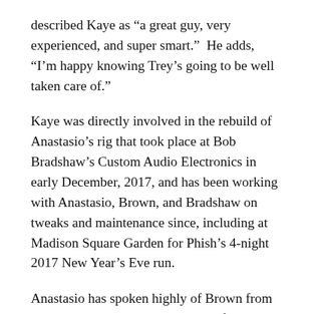described Kaye as “a great guy, very experienced, and super smart.”  He adds, “I’m happy knowing Trey’s going to be well taken care of.”
Kaye was directly involved in the rebuild of Anastasio’s rig that took place at Bob Bradshaw’s Custom Audio Electronics in early December, 2017, and has been working with Anastasio, Brown, and Bradshaw on tweaks and maintenance since, including at Madison Square Garden for Phish’s 4-night 2017 New Year’s Eve run.
Anastasio has spoken highly of Brown from the stage. On July 8, 2016 in Mansfield, MA, after breaking a string during Cities, Anastasio asked Brown to linger on stage, saying, “This is my dear friend Brian Brown. If